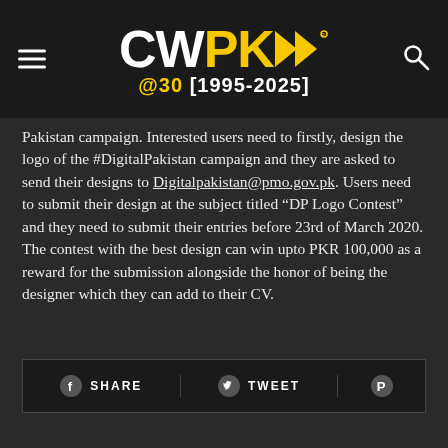CWPK @30 [1995-2025]
Pakistan campaign. Interested users need to firstly, design the logo of the #DigitalPakistan campaign and they are asked to send their designs to Digitalpakistan@pmo.gov.pk. Users need to submit their design at the subject titled “DP Logo Contest” and they need to submit their entries before 23rd of March 2020. The contest with the best design can win upto PKR 100,000 as a reward for the submission alongside the honor of being the designer which they can add to their CV.
SHARE   TWEET   Ⓟ